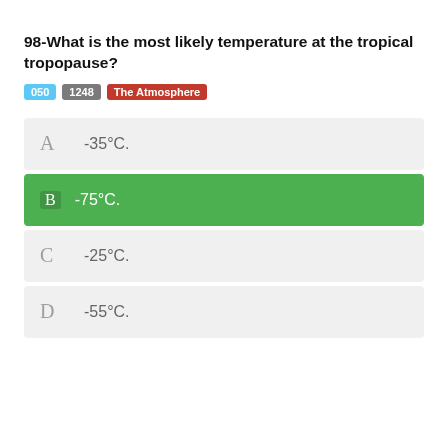98-What is the most likely temperature at the tropical tropopause?
050  1248  The Atmosphere
A  -35°C.
B  -75°C.
C  -25°C.
D  -55°C.